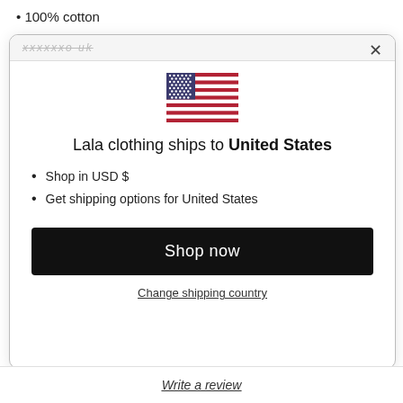100% cotton
xxxxxxo uk
[Figure (illustration): US flag emoji/icon]
Lala clothing ships to United States
Shop in USD $
Get shipping options for United States
Shop now
Change shipping country
Write a review